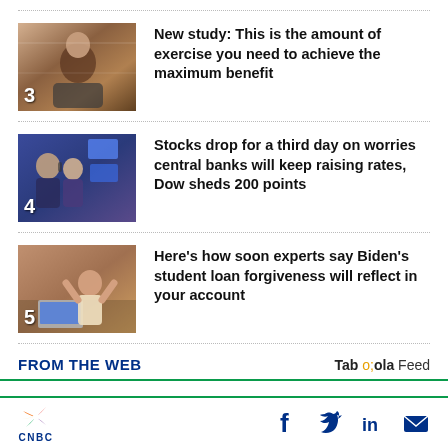3 New study: This is the amount of exercise you need to achieve the maximum benefit
4 Stocks drop for a third day on worries central banks will keep raising rates, Dow sheds 200 points
5 Here’s how soon experts say Biden’s student loan forgiveness will reflect in your account
FROM THE WEB
Taboola Feed
CNBC